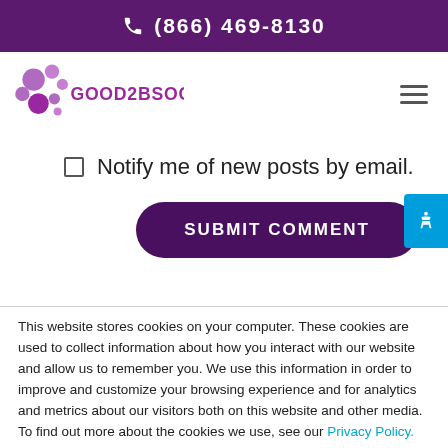(866) 469-8130
[Figure (logo): Good2BSocial logo with purple bubble circles and purple text]
Notify me of new posts by email.
SUBMIT COMMENT
This website stores cookies on your computer. These cookies are used to collect information about how you interact with our website and allow us to remember you. We use this information in order to improve and customize your browsing experience and for analytics and metrics about our visitors both on this website and other media. To find out more about the cookies we use, see our Privacy Policy.
Accept